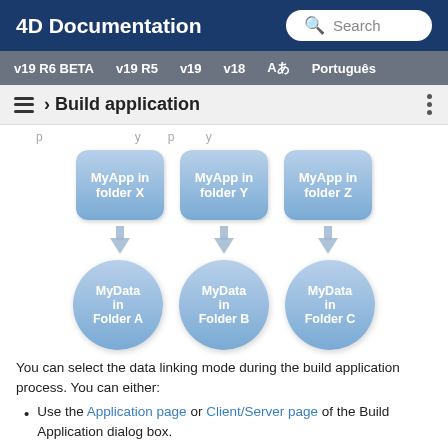4D Documentation  Search
v19 R6 BETA  v19 R5  v19  v18  Aあ  Português
› Build application
[Figure (flowchart): Three rounded rectangles labeled 'MyApp in folder X', 'MyApp in folder Y', 'MyApp in folder Z' with arrows pointing down to three circles labeled 'MyData in Folder A', 'MyData in Folder B', 'MyData in Folder C']
You can select the data linking mode during the build application process. You can either:
Use the Application page or Client/Server page of the Build Application dialog box.